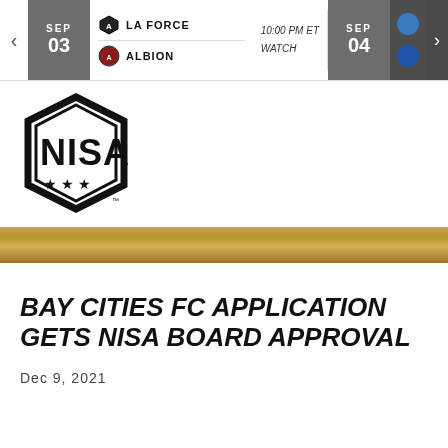SEP 03 | LA FORCE vs ALBION | 10:00 PM ET WATCH | SEP 04
[Figure (logo): NISA (National Independent Soccer Association) logo — black hexagon shield with NISA text and three stars]
BAY CITIES FC APPLICATION GETS NISA BOARD APPROVAL
Dec 9, 2021